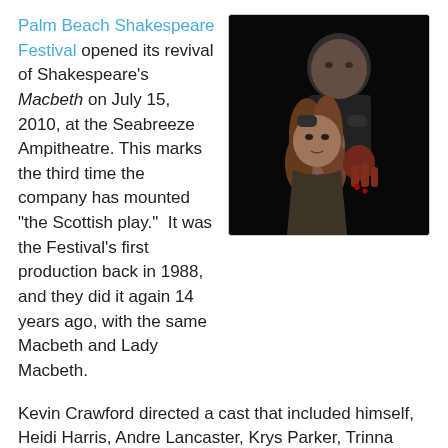Palm Beach Shakespeare Festival opened its revival of Shakespeare's Macbeth on July 15, 2010, at the Seabreeze Ampitheatre. This marks the third time the company has mounted "the Scottish play." It was the Festival's first production back in 1988, and they did it again 14 years ago, with the same Macbeth and Lady Macbeth.
[Figure (photo): Two actors in a dark dramatic scene from Macbeth. A man stands behind a woman with long curly red hair; his hands rest on her shoulders. The woman holds a bloody hand and looks intense. Dark background.]
Kevin Crawford directed a cast that included himself, Heidi Harris, Andre Lancaster, Krys Parker, Trinna Pye, and Gretta von Unrue.
Hap Erstein reviewed for Palm Beach ArtsPaper:
Directing the production and playing the title role is Kevin Crawford, long the company's best